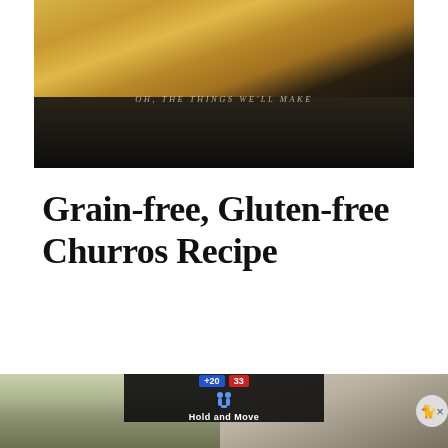[Figure (photo): Food photo of churros dusted with sugar, on a dark background, with overlay text reading 'OH, THE THINGS WE'LL MAKE']
Grain-free, Gluten-free Churros Recipe
[Figure (other): Advertisement banner showing a split outdoor/dark scene with a 'Hold and Move' game interface overlay, score indicators (+20, 33), and a close button]